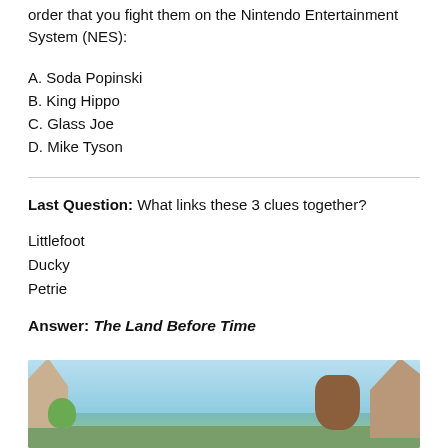order that you fight them on the Nintendo Entertainment System (NES):
A. Soda Popinski
B. King Hippo
C. Glass Joe
D. Mike Tyson
Last Question: What links these 3 clues together?
Littlefoot
Ducky
Petrie
Answer: The Land Before Time
[Figure (illustration): Colorful animated illustration from The Land Before Time showing dinosaur characters in a prehistoric landscape with cliffs and sky in the background.]